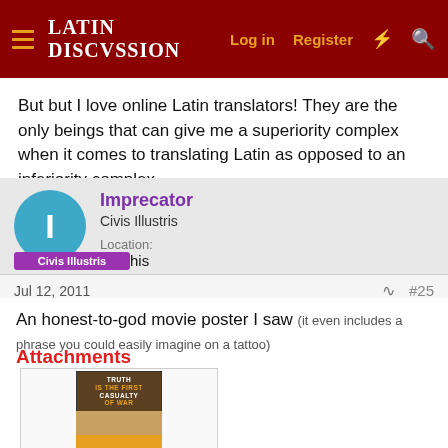LATIN DISCUSSION — Log in  Register
But but I love online Latin translators! They are the only beings that can give me a superiority complex when it comes to translating Latin as opposed to an inferiority complex.
Imprecator
Civis Illustris
Location: Colchis
Jul 12, 2011  #25
An honest-to-god movie poster I saw (it even includes a phrase you could easily imagine on a tattoo)
Attachments
[Figure (photo): A movie poster thumbnail showing text 'TRUTH IS THE FIRST CASUALTY OF WAR' with orange and dark brown colors]